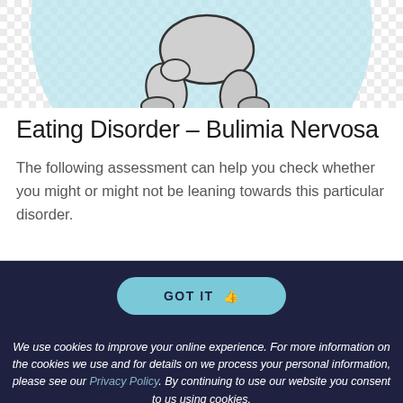[Figure (illustration): Illustration of a person sitting on the floor, hunched over, with a light blue circular background. The image is partially cropped showing the lower torso and legs with a checkered transparent background.]
Eating Disorder – Bulimia Nervosa
The following assessment can help you check whether you might or might not be leaning towards this particular disorder.
GOT IT 👍
We use cookies to improve your online experience. For more information on the cookies we use and for details on we process your personal information, please see our Privacy Policy. By continuing to use our website you consent to us using cookies.